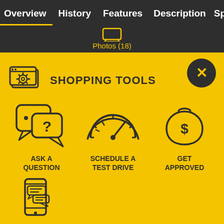Overview  History  Features  Description  Specs  Simi
[Figure (screenshot): Photos (18) icon in navigation bar]
SHOPPING TOOLS
[Figure (illustration): ASK A QUESTION icon - speech bubble with question mark]
ASK A QUESTION
[Figure (illustration): SCHEDULE A TEST DRIVE icon - speedometer gauge]
SCHEDULE A TEST DRIVE
[Figure (illustration): GET APPROVED icon - money bag with dollar sign]
GET APPROVED
[Figure (illustration): TEXT LINK TO PHONE icon - mobile phone with message bubbles]
TEXT LINK TO PHONE